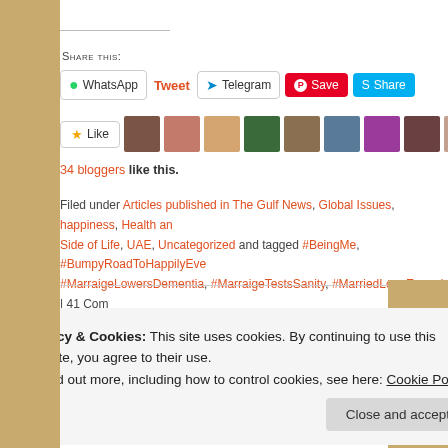Share this:
WhatsApp  Tweet  Telegram  Save  Share
Like  [avatar row]
34 bloggers like this.
Filed under Articles published in The Gulf News, Global Issues, happiness, Health and Side of Life, UAE, Uncategorized and tagged #BeingMe, #BumpyRoadToHappilyEver, #MarraigeLowersDementia, #MarraigeTestsSanity, #MarriedLongEnough | 41 Com
Privacy & Cookies: This site uses cookies. By continuing to use this website, you agree to their use.
To find out more, including how to control cookies, see here: Cookie Policy
Close and accept